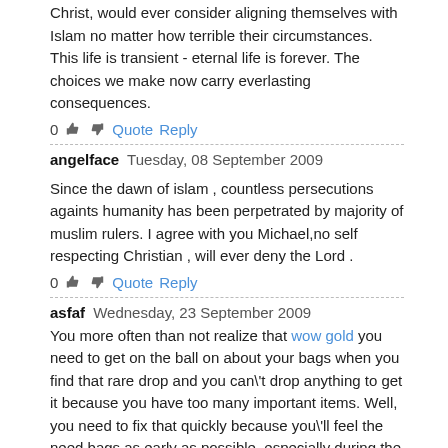Christ, would ever consider aligning themselves with Islam no matter how terrible their circumstances. This life is transient - eternal life is forever. The choices we make now carry everlasting consequences.
0  Quote  Reply
angelface  Tuesday, 08 September 2009
Since the dawn of islam , countless persecutions againts humanity has been perpetrated by majority of muslim rulers. I agree with you Michael,no self respecting Christian , will ever deny the Lord .
0  Quote  Reply
asfaf  Wednesday, 23 September 2009
You more often than not realize that wow gold you need to get on the ball on about your bags when you find that rare drop and you can\'t drop anything to get it because you have too many important items. Well, you need to fix that quickly because you\'ll feel the need bags as early as possible, especially during the first 10 levels. You can enjoy a wondeful online wow po game life with cheap WoW gold. Now come with me and buy cheap wow gold kaufen here !Also, do some early quests and kill mobs in transit. Get going on this early to start accumulating some cloth to use for a friendly tailor. Some of the quests are specifically for getting bags.Now, if this fails you need to find a good deal at the Auction House.